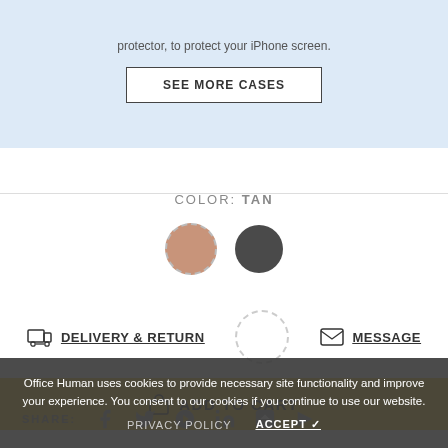protector, to protect your iPhone screen.
SEE MORE CASES
COLOR: TAN
[Figure (other): Two color swatches: tan/rose gold circle and dark grey circle for product color selection]
DELIVERY & RETURN
MESSAGE
ADD TO CART
SHARE:
Office Human uses cookies to provide necessary site functionality and improve your experience. You consent to our cookies if you continue to use our website.
PRIVACY POLICY
ACCEPT ✓